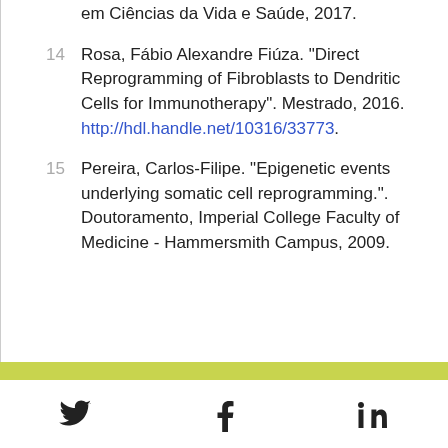em Ciências da Vida e Saúde, 2017.
14 Rosa, Fábio Alexandre Fiúza. "Direct Reprogramming of Fibroblasts to Dendritic Cells for Immunotherapy". Mestrado, 2016. http://hdl.handle.net/10316/33773.
15 Pereira, Carlos-Filipe. "Epigenetic events underlying somatic cell reprogramming.". Doutoramento, Imperial College Faculty of Medicine - Hammersmith Campus, 2009.
Twitter Facebook LinkedIn